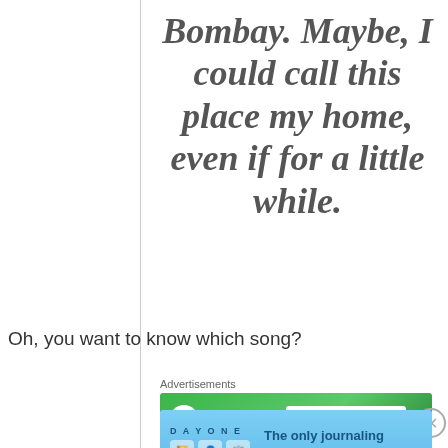Bombay. Maybe, I could call this place my home, even if for a little while.
Oh, you want to know which song?
Advertisements
[Figure (screenshot): Jetpack advertisement banner - green background with Jetpack logo and 'Back up your site' button]
Advertisements
[Figure (screenshot): Day One journaling app advertisement - blue background with app icons and text 'The only journaling app you'll ever need.']